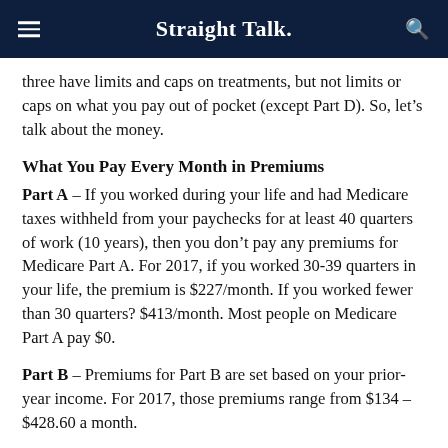Straight Talk.
three have limits and caps on treatments, but not limits or caps on what you pay out of pocket (except Part D). So, let's talk about the money.
What You Pay Every Month in Premiums
Part A – If you worked during your life and had Medicare taxes withheld from your paychecks for at least 40 quarters of work (10 years), then you don't pay any premiums for Medicare Part A. For 2017, if you worked 30-39 quarters in your life, the premium is $227/month. If you worked fewer than 30 quarters? $413/month. Most people on Medicare Part A pay $0.
Part B – Premiums for Part B are set based on your prior-year income. For 2017, those premiums range from $134 – $428.60 a month.